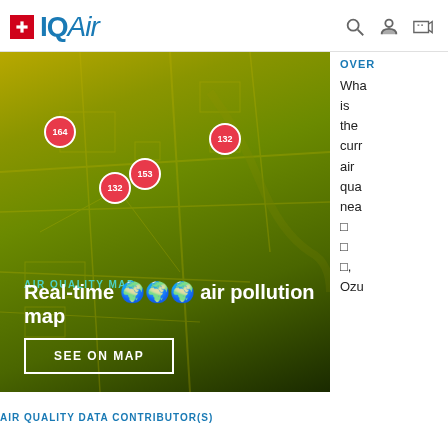IQAir
[Figure (map): Air quality map showing a city with yellow-green pollution overlay and red circular markers showing AQI values: 164, 132, 153, 132. Bottom-left shows 'AIR QUALITY MAP' label and 'Real-time air pollution map' title with a 'SEE ON MAP' button.]
OVER
What is the current air quality near... Ozu
AIR QUALITY DATA CONTRIBUTOR(S)